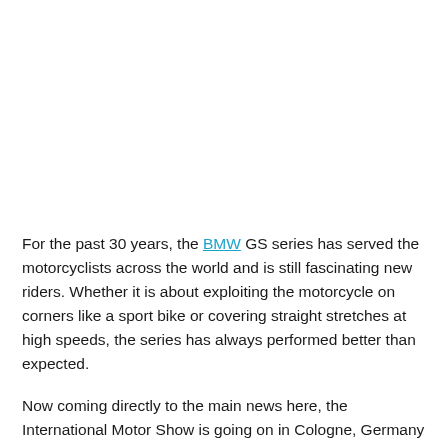[Figure (photo): Image area at top of page (appears blank/white in this view — likely a photograph of a BMW motorcycle)]
For the past 30 years, the BMW GS series has served the motorcyclists across the world and is still fascinating new riders. Whether it is about exploiting the motorcycle on corners like a sport bike or covering straight stretches at high speeds, the series has always performed better than expected.
Now coming directly to the main news here, the International Motor Show is going on in Cologne, Germany and BMW Motorrad has revealed the 2013 BMW R1200GS. The